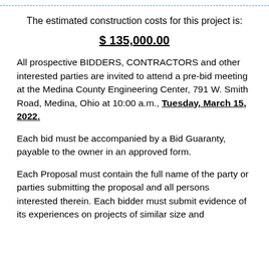The estimated construction costs for this project is:
$ 135,000.00
All prospective BIDDERS, CONTRACTORS and other interested parties are invited to attend a pre-bid meeting at the Medina County Engineering Center, 791 W. Smith Road, Medina, Ohio at 10:00 a.m., Tuesday, March 15, 2022.
Each bid must be accompanied by a Bid Guaranty, payable to the owner in an approved form.
Each Proposal must contain the full name of the party or parties submitting the proposal and all persons interested therein. Each bidder must submit evidence of its experiences on projects of similar size and complexity.